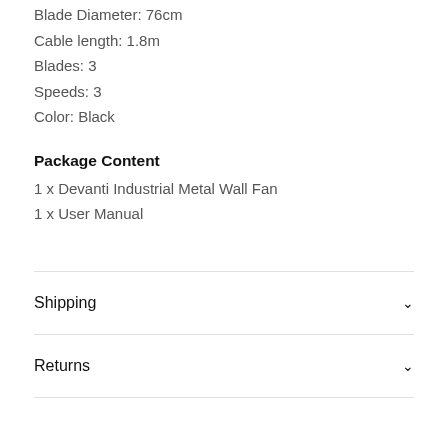Blade Diameter: 76cm
Cable length: 1.8m
Blades: 3
Speeds: 3
Color: Black
Package Content
1 x Devanti Industrial Metal Wall Fan
1 x User Manual
Shipping
Returns